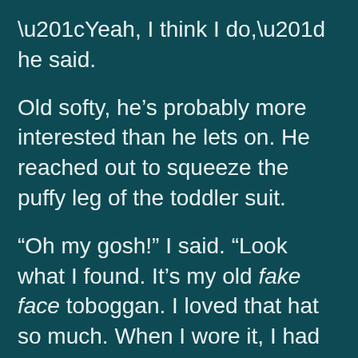“Yeah, I think I do,” he said.
Old softy, he’s probably more interested than he lets on. He reached out to squeeze the puffy leg of the toddler suit.
“Oh my gosh!” I said. “Look what I found. It’s my old fake face toboggan. I loved that hat so much. When I wore it, I had two faces: a face on the front and on the back of my head. I wore it all the time. I loved those eyeballs that rolled around and the red yarn hair around the sides.” I